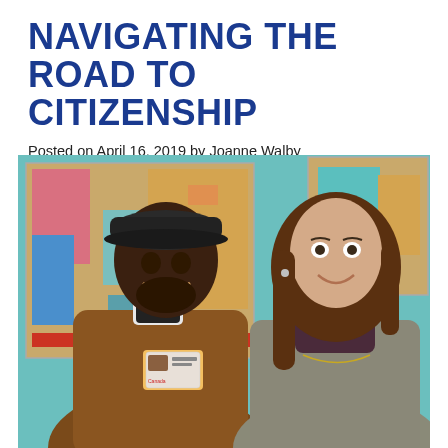NAVIGATING THE ROAD TO CITIZENSHIP
Posted on April 16, 2019 by Joanne Walby
[Figure (photo): Two people smiling and posing in front of colorful abstract paintings on a teal wall. The person on the left is a man wearing a dark cap and brown leather jacket, holding up what appears to be an ID card. The person on the right is a woman with long brown hair wearing a grey blazer and dark turtleneck.]